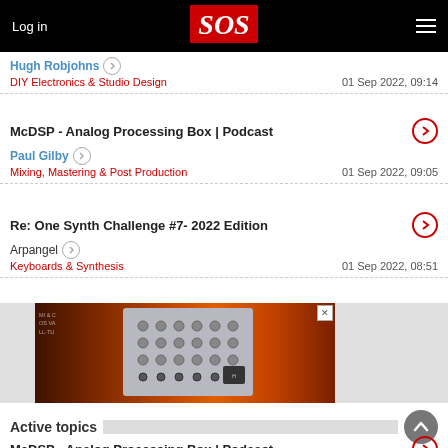Log in | SOS
Hugh Robjohns | DIY Electronics & Studio Design | 01 Sep 2022, 09:14
McDSP - Analog Processing Box | Podcast | Paul Gilby | Mixing, Mastering & Post Production | 01 Sep 2022, 09:05
Re: One Synth Challenge #7- 2022 Edition | Arpangel | Keyboards & Synthesis | 01 Sep 2022, 08:51
[Figure (photo): Advertisement banner showing audio hardware device (modular synth panel with knobs and connectors) against warm orange/amber background with text overlays]
Active topics
McDSP - Analog Processing Box | Podcast